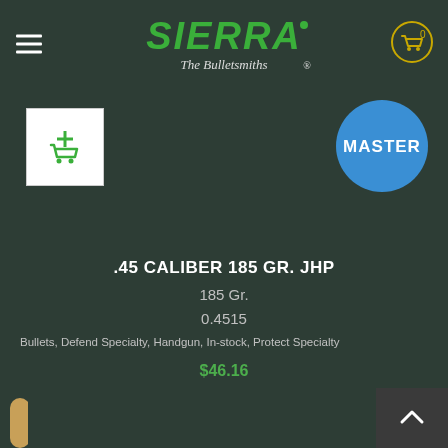Sierra The Bulletsmiths
[Figure (logo): Sierra Bullets logo with text 'The Bulletsmiths']
[Figure (illustration): Add to cart button icon (green shopping cart with plus sign on white background)]
[Figure (illustration): Blue circle badge with white text MASTER]
.45 CALIBER 185 GR. JHP
185 Gr.
0.4515
Bullets, Defend Specialty, Handgun, In-stock, Protect Specialty
$46.16
[Figure (photo): Copper/brass bullet tips visible at bottom of page]